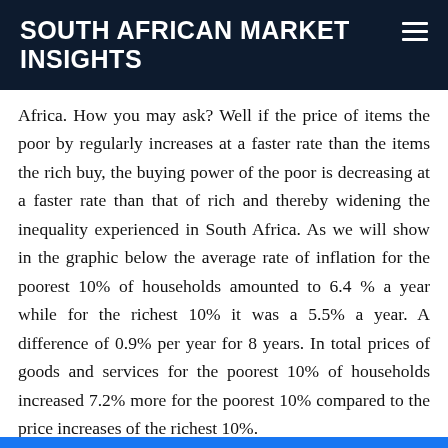SOUTH AFRICAN MARKET INSIGHTS
Africa. How you may ask? Well if the price of items the poor by regularly increases at a faster rate than the items the rich buy, the buying power of the poor is decreasing at a faster rate than that of rich and thereby widening the inequality experienced in South Africa. As we will show in the graphic below the average rate of inflation for the poorest 10% of households amounted to 6.4 % a year while for the richest 10% it was a 5.5% a year. A difference of 0.9% per year for 8 years. In total prices of goods and services for the poorest 10% of households increased 7.2% more for the poorest 10% compared to the price increases of the richest 10%.
[Figure (other): Social media share buttons: Facebook, Twitter, Pinterest, and a plus/share button]